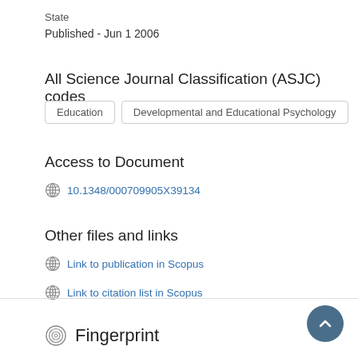State
Published - Jun 1 2006
All Science Journal Classification (ASJC) codes
Education
Developmental and Educational Psychology
Access to Document
10.1348/000709905X39134
Other files and links
Link to publication in Scopus
Link to citation list in Scopus
Fingerprint